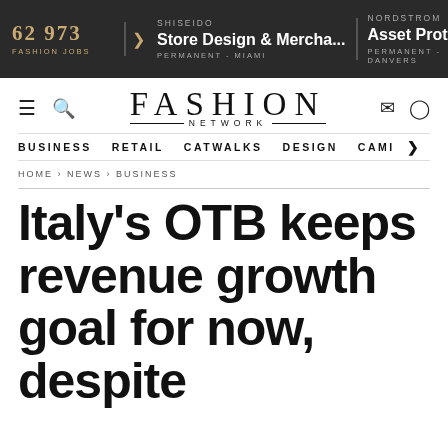62 973 FASHION JOBS | SHISEIDO Store Design & Mercha... PERMANENT - MIAMI | NORDSTROM Asset Protect PERMANENT - DANVERS
[Figure (logo): FASHION NETWORK logo with navigation icons (hamburger menu, search, mail, user)]
BUSINESS  RETAIL  CATWALKS  DESIGN  CAMI  >
HOME › NEWS › BUSINESS
Italy's OTB keeps revenue growth goal for now, despite